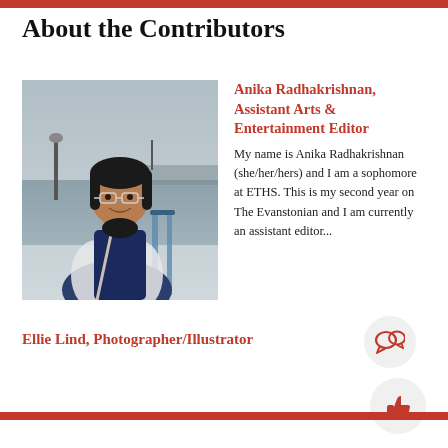About the Contributors
[Figure (photo): Photo of Anika Radhakrishnan, a young woman with glasses and dark hair smiling, standing near a waterfront railing with a body of water and bridge in the background.]
Anika Radhakrishnan, Assistant Arts & Entertainment Editor
My name is Anika Radhakrishnan (she/her/hers) and I am a sophomore at ETHS. This is my second year on The Evanstonian and I am currently an assistant editor...
Ellie Lind, Photographer/Illustrator